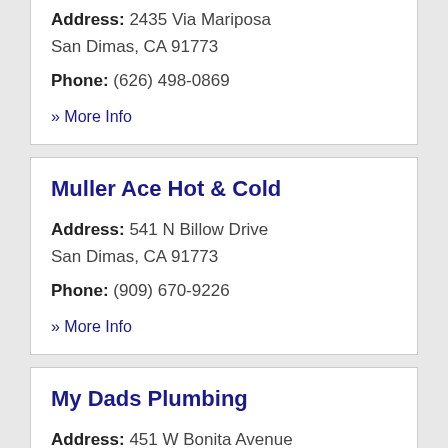Address: 2435 Via Mariposa San Dimas, CA 91773
Phone: (626) 498-0869
» More Info
Muller Ace Hot & Cold
Address: 541 N Billow Drive San Dimas, CA 91773
Phone: (909) 670-9226
» More Info
My Dads Plumbing
Address: 451 W Bonita Avenue San Dimas, CA 91773